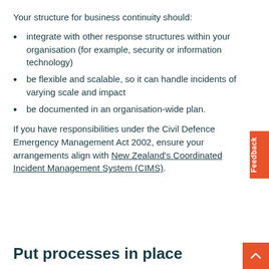Your structure for business continuity should:
integrate with other response structures within your organisation (for example, security or information technology)
be flexible and scalable, so it can handle incidents of varying scale and impact
be documented in an organisation-wide plan.
If you have responsibilities under the Civil Defence Emergency Management Act 2002, ensure your arrangements align with New Zealand's Coordinated Incident Management System (CIMS).
Put processes in place